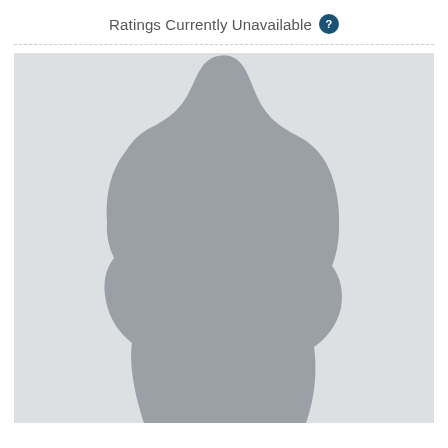Ratings Currently Unavailable ?
[Figure (illustration): Default placeholder silhouette of a female person with long hair, gray shape on light gray background]